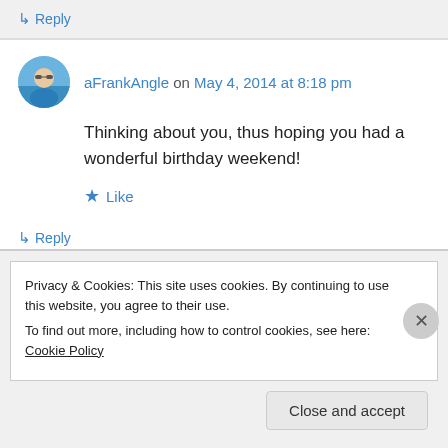↳ Reply
aFrankAngle on May 4, 2014 at 8:18 pm
Thinking about you, thus hoping you had a wonderful birthday weekend!
Like
↳ Reply
Privacy & Cookies: This site uses cookies. By continuing to use this website, you agree to their use.
To find out more, including how to control cookies, see here: Cookie Policy
Close and accept